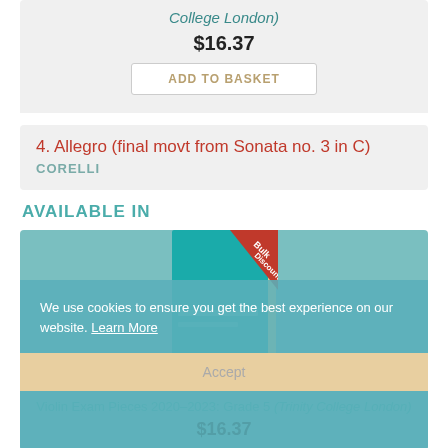College London)
$16.37
ADD TO BASKET
4. Allegro (final movt from Sonata no. 3 in C)
CORELLI
AVAILABLE IN
[Figure (photo): Book cover for Violin Exam Pieces 2020-2023: Grade 5 (Trinity College London) with a red 'Bulk Discount' banner in the top corner]
We use cookies to ensure you get the best experience on our website. Learn More
Accept
Violin Exam Pieces 2020–2023: Grade 5 (Trinity College London)
$16.37